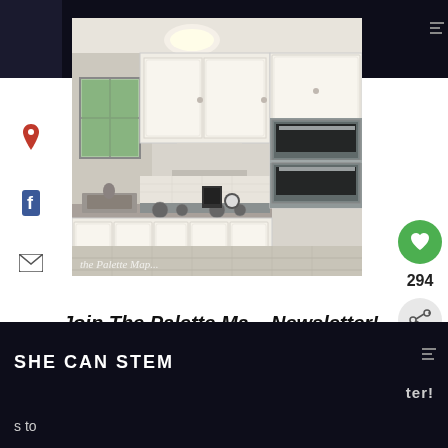SHE CAN STEM
[Figure (photo): Kitchen interior with white cabinets, stainless steel double wall oven, gas stovetop, window, and tile backsplash. Watermark reads 'the Palette Map...']
WHAT'S NEXT → Trend Alert: Block Printi...
Join The Palette Ma... Newsletter!
SHE CAN STEM
s to